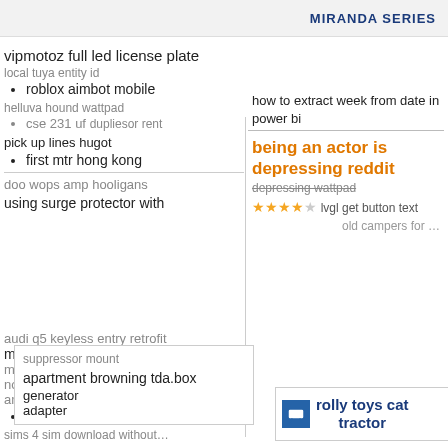MIRANDA SERIES
vipmotoz full led license plate
local tuya entity id
roblox aimbot mobile
helluva hound wattpad
cse 231 uf
pick up lines hugot
first mtr hong kong
doo wops amp hooligans
using surge protector with
suppressor mount
apartment browning tda.box
generator
adapter
audi q5 keyless entry retrofit
master bedroom vs primary
mercedes om642 starting pr...
not everyone is going to heav...
amsco chapter 19 pdf   10 inc...
how to become an nba gm
sims 4 sim download without...
how to extract week from date in power bi
being an actor is depressing reddit
depressing wattpad
★★★★☆ lvgl get button text
old campers for ...
rolly toys cat tractor